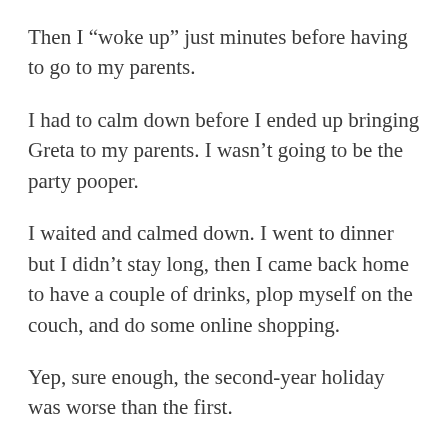Then I “woke up” just minutes before having to go to my parents.
I had to calm down before I ended up bringing Greta to my parents. I wasn’t going to be the party pooper.
I waited and calmed down. I went to dinner but I didn’t stay long, then I came back home to have a couple of drinks, plop myself on the couch, and do some online shopping.
Yep, sure enough, the second-year holiday was worse than the first.
And it sucks!